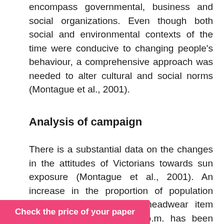encompass governmental, business and social organizations. Even though both social and environmental contexts of the time were conducive to changing people's behaviour, a comprehensive approach was needed to alter cultural and social norms (Montague et al., 2001).
Analysis of campaign
There is a substantial data on the changes in the attitudes of Victorians towards sun exposure (Montague et al., 2001). An increase in the proportion of population wearing sunscreen or a headwear item between 11 a.m. and 3 p.m. has been documented (Montague et al., 2001). Moreover, the studies indicate the presence of the significant downward trend in the sunburns since 1988 (Montague et al., 2001). The data from the national … decrease in the